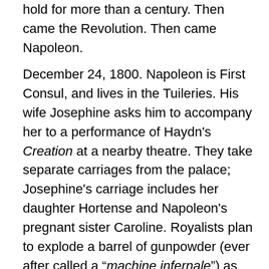hold for more than a century. Then came the Revolution. Then came Napoleon.
December 24, 1800. Napoleon is First Consul, and lives in the Tuileries. His wife Josephine asks him to accompany her to a performance of Haydn's Creation at a nearby theatre. They take separate carriages from the palace; Josephine's carriage includes her daughter Hortense and Napoleon's pregnant sister Caroline. Royalists plan to explode a barrel of gunpowder (ever after called a “machine infernale”) as Napoleon's carriage passes the intersection of the rue St-Nicaise and the rue St-Honoré. But the explosion happens a few seconds after the Consul's carriage has passed the spot and a few seconds before Josephine's carriage reaches it; several people are killed, but the Consul, Josephine, and their frightened family members survive. This dramatic, if unrealistic,